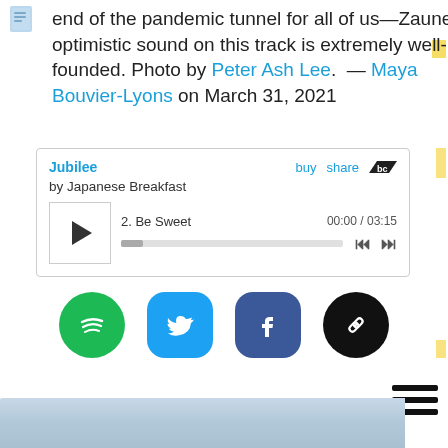end of the pandemic tunnel for all of us—Zauner's optimistic sound on this track is extremely well-founded. Photo by Peter Ash Lee.  — Maya Bouvier-Lyons on March 31, 2021
[Figure (screenshot): Bandcamp music player widget showing album 'Jubilee' by Japanese Breakfast, track 2 'Be Sweet', time 00:00 / 03:15, with play button and progress bar]
[Figure (infographic): Row of four social sharing icons: Spotify (green), Twitter (blue), Facebook (dark blue), Link/copy (black)]
[Figure (other): Hamburger menu icon (three horizontal lines) in top right area]
[Figure (photo): Bottom portion of a sky/outdoor photo, blurred blue and gray tones]